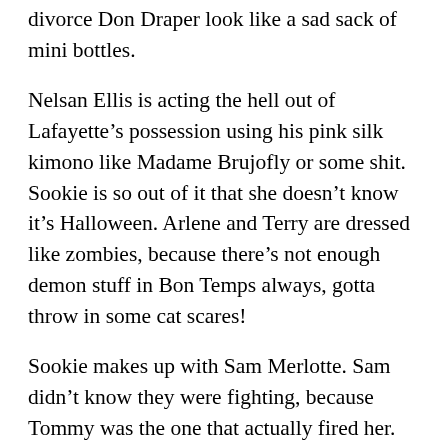divorce Don Draper look like a sad sack of mini bottles.
Nelsan Ellis is acting the hell out of Lafayette's possession using his pink silk kimono like Madame Brujofly or some shit. Sookie is so out of it that she doesn't know it's Halloween. Arlene and Terry are dressed like zombies, because there's not enough demon stuff in Bon Temps always, gotta throw in some cat scares!
Sookie makes up with Sam Merlotte. Sam didn't know they were fighting, because Tommy was the one that actually fired her. Lafayette is doing the full Kathy Bates in Misery on his boyfriend. Jesus is really regretting his decision to take their sex life in a less vanilla direction. It seemed like a fun idea but now that he's locked in the harness being forced to do dangerous invocations he's having potential regrets. Terry greets a character we've never seen before in a way that lets us know these characters have known each other a